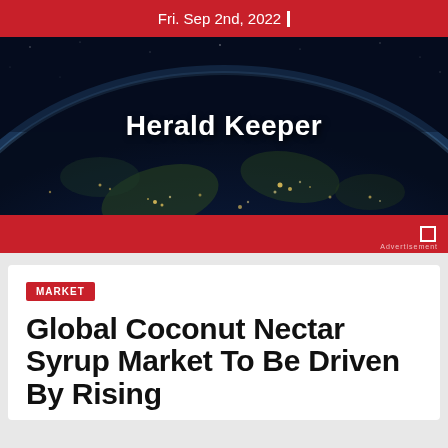Fri. Sep 2nd, 2022
[Figure (photo): Aerial night view of Earth from space showing city lights and landmasses, dark blue tones, with 'Herald Keeper' text overlay in bold white]
Herald Keeper
MARKET
Global Coconut Nectar Syrup Market To Be Driven By Rising